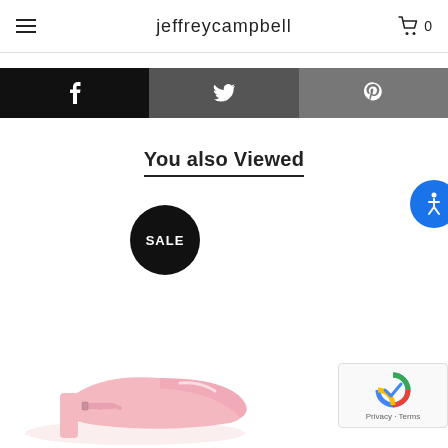jeffreycampbell
[Figure (screenshot): Social sharing bar with Facebook (black), Twitter (dark gray), and Pinterest (medium gray) icon buttons]
You also Viewed
[Figure (infographic): Black circular SALE badge]
[Figure (photo): Pink patent leather low-heel shoe with ankle strap, partially visible at bottom of page]
[Figure (other): Blue circular accessibility (wheelchair) icon button]
[Figure (other): Google reCAPTCHA widget with Privacy and Terms links]